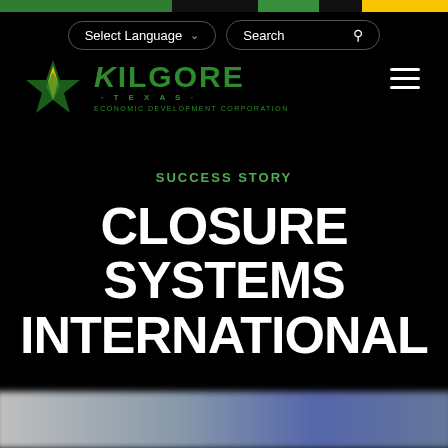[Figure (screenshot): Kilgore Texas Economic Development Corporation website header with logo, navigation bar with Select Language dropdown and Search field, and hamburger menu icon on black background]
SUCCESS STORY
CLOSURE SYSTEMS INTERNATIONAL
[Figure (photo): Blurred bottom strip showing a partial photo, dark blue and grey tones]